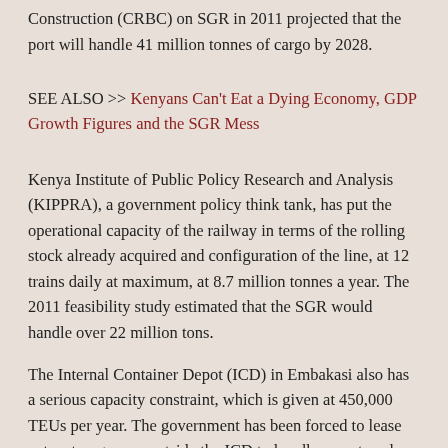Construction (CRBC) on SGR in 2011 projected that the port will handle 41 million tonnes of cargo by 2028.
SEE ALSO >> Kenyans Can't Eat a Dying Economy, GDP Growth Figures and the SGR Mess
Kenya Institute of Public Policy Research and Analysis (KIPPRA), a government policy think tank, has put the operational capacity of the railway in terms of the rolling stock already acquired and configuration of the line, at 12 trains daily at maximum, at 8.7 million tonnes a year. The 2011 feasibility study estimated that the SGR would handle over 22 million tons.
The Internal Container Depot (ICD) in Embakasi also has a serious capacity constraint, which is given at 450,000 TEUs per year. The government has been forced to lease extra storage area outside the ICD to handle overstayed cargo